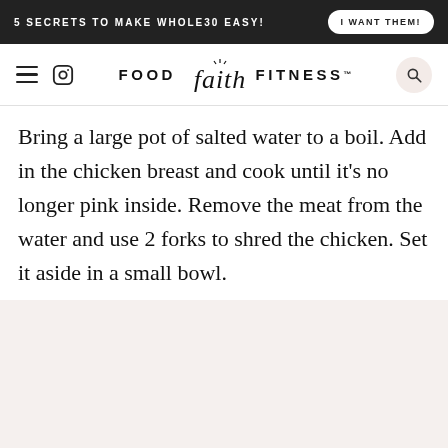5 SECRETS TO MAKE WHOLE30 EASY!  I WANT THEM!
FOOD faith FITNESS™
Bring a large pot of salted water to a boil. Add in the chicken breast and cook until it's no longer pink inside. Remove the meat from the water and use 2 forks to shred the chicken. Set it aside in a small bowl.
[Figure (photo): Bottom portion of a food photo, partially visible]